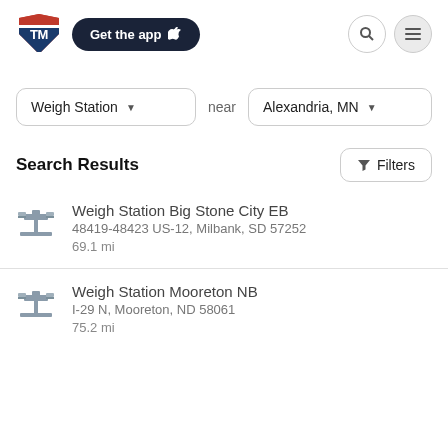[Figure (logo): TruckMap TM logo with red and blue shield/arrow design]
Get the app 🍎
Weigh Station near Alexandria, MN
Search Results
Weigh Station Big Stone City EB
48419-48423 US-12, Milbank, SD 57252
69.1 mi
Weigh Station Mooreton NB
I-29 N, Mooreton, ND 58061
75.2 mi